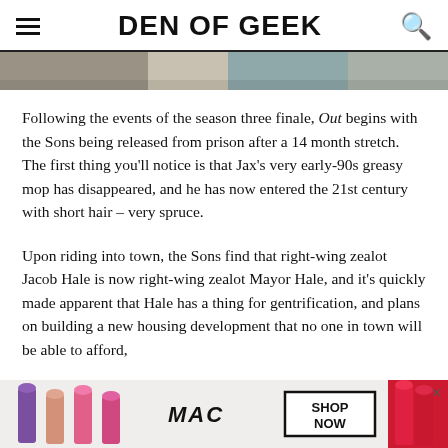DEN OF GEEK
[Figure (photo): Partial image at top of article, appears to be a TV show scene]
Following the events of the season three finale, Out begins with the Sons being released from prison after a 14 month stretch. The first thing you'll notice is that Jax's very early-90s greasy mop has disappeared, and he has now entered the 21st century with short hair – very spruce.
Upon riding into town, the Sons find that right-wing zealot Jacob Hale is now right-wing zealot Mayor Hale, and it's quickly made apparent that Hale has a thing for gentrification, and plans on building a new housing development that no one in town will be able to afford,
[Figure (photo): MAC cosmetics advertisement showing lipsticks with SHOP NOW call to action]